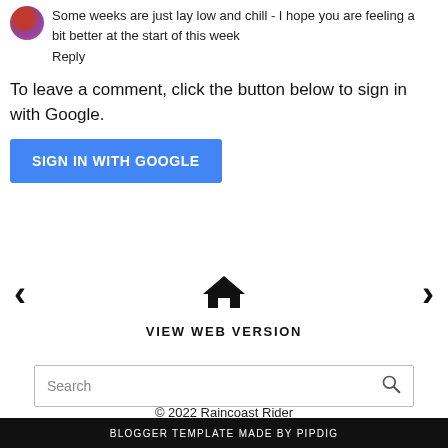Some weeks are just lay low and chill - I hope you are feeling a bit better at the start of this week
Reply
To leave a comment, click the button below to sign in with Google.
SIGN IN WITH GOOGLE
[Figure (other): Navigation icons: left arrow, home icon, right arrow, and VIEW WEB VERSION text]
Search
© 2022 Raincoast Rider
BLOGGER TEMPLATE MADE BY pipdig